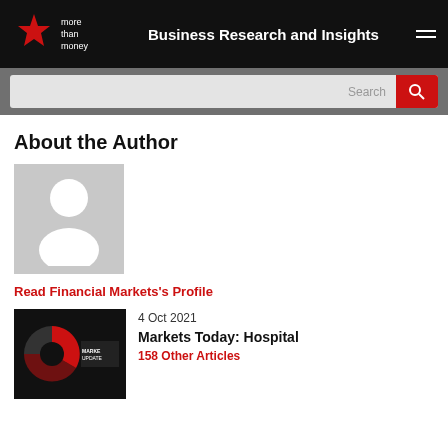Business Research and Insights
[Figure (screenshot): Search bar with red search button]
About the Author
[Figure (photo): Default author avatar placeholder - grey silhouette on grey background]
Read Financial Markets's Profile
4 Oct 2021
[Figure (screenshot): Article thumbnail showing a red pie chart on dark background with MARKETS UPDATE text]
Markets Today: Hospital
158 Other Articles